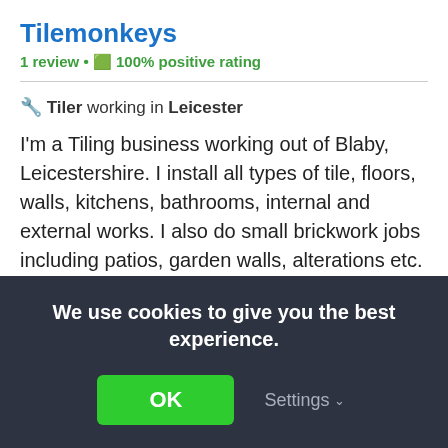Tilemonkeys
1 review • 🔲 100% positive rating
🔧 Tiler working in Leicester
I'm a Tiling business working out of Blaby, Leicestershire. I install all types of tile, floors, walls, kitchens, bathrooms, internal and external works. I also do small brickwork jobs including patios, garden walls, alterations etc. 15 years experience in the read more
Latest Tiling feedback review: Tile bathroom
We use cookies to give you the best experience.
OK
Settings